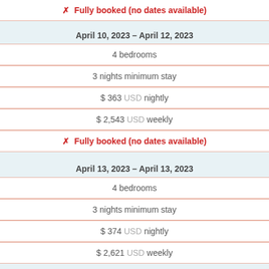✗ Fully booked (no dates available)
April 10, 2023 – April 12, 2023
4 bedrooms
3 nights minimum stay
$ 363 USD nightly
$ 2,543 USD weekly
✗ Fully booked (no dates available)
April 13, 2023 – April 13, 2023
4 bedrooms
3 nights minimum stay
$ 374 USD nightly
$ 2,621 USD weekly